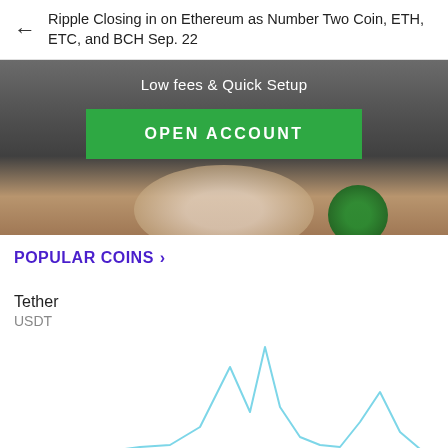Ripple Closing in on Ethereum as Number Two Coin, ETH, ETC, and BCH Sep. 22
[Figure (photo): Advertisement banner with dark background showing 'Low fees & Quick Setup' text and a green 'OPEN ACCOUNT' button, with a partial view of coins at the bottom]
POPULAR COINS >
Tether
USDT
[Figure (line-chart): Partial line chart for Tether (USDT) showing price movement with notable spikes, rendered in light blue]